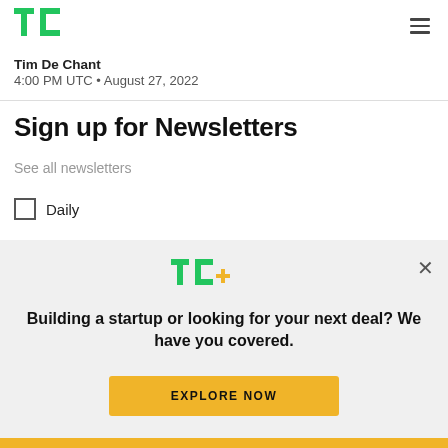TechCrunch header with TC logo and hamburger menu
Tim De Chant
4:00 PM UTC • August 27, 2022
Sign up for Newsletters
See all newsletters
Daily
[Figure (logo): TechCrunch TC+ logo in green and yellow]
Building a startup or looking for your next deal? We have you covered.
EXPLORE NOW